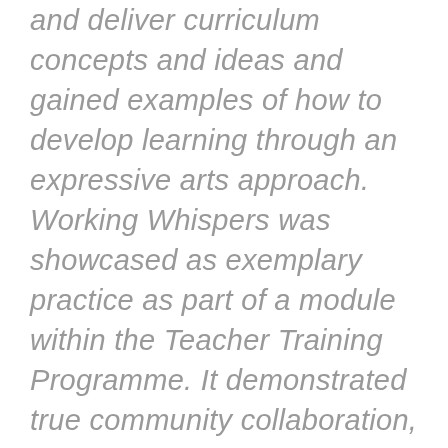and deliver curriculum concepts and ideas and gained examples of how to develop learning through an expressive arts approach. Working Whispers was showcased as exemplary practice as part of a module within the Teacher Training Programme. It demonstrated true community collaboration, culminating in a passionate project that went far beyond expectations.